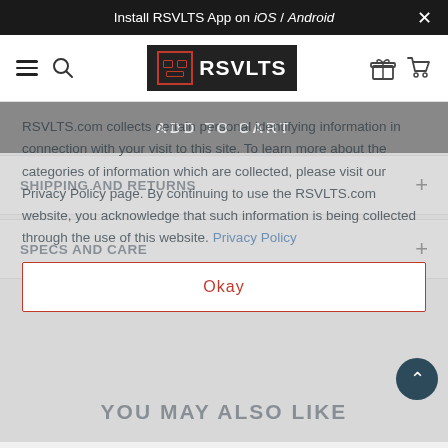Install RSVLTS App on iOS / Android ×
[Figure (logo): RSVLTS logo with hamburger menu, search icon, gift icon, and cart icon in navigation bar]
ADD TO CART
SHIPPING AND RETURNS +
SPECS AND CARE +
RSVLTS.com collects certain personal identifying information in connection with your visit to this site. To learn more about the categories of information which are collected, please visit our Privacy Policy page. By continuing to use the RSVLTS.com website, you acknowledge that such information is being collected through the use of this website. Privacy Policy
Okay
YOU MAY ALSO LIKE